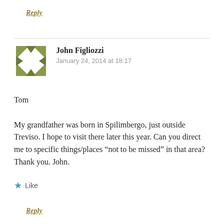Reply
[Figure (illustration): Geometric avatar icon composed of olive/green triangular shapes forming a square frame pattern]
John Figliozzi
January 24, 2014 at 18:17
Tom

My grandfather was born in Spilimbergo, just outside Treviso. I hope to visit there later this year. Can you direct me to specific things/places “not to be missed” in that area? Thank you. John.
★ Like
Reply